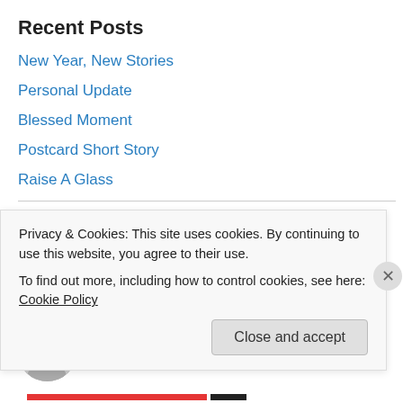Recent Posts
New Year, New Stories
Personal Update
Blessed Moment
Postcard Short Story
Raise A Glass
Recent Comments
Md Asif Raza on Personal Update
Md Asif Raza on Blessed Moment
Privacy & Cookies: This site uses cookies. By continuing to use this website, you agree to their use.
To find out more, including how to control cookies, see here: Cookie Policy
Close and accept